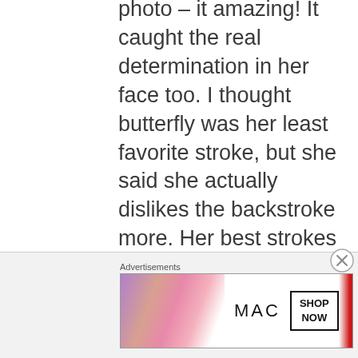photo – it amazing! It caught the real determination in her face too. I thought butterfly was her least favorite stroke, but she said she actually dislikes the backstroke more. Her best strokes are freestyle and breaststroke. She was on fire yesterday in her 200m breaststroke race – had
Advertisements
[Figure (photo): Advertisement banner for MAC cosmetics showing lipsticks in purple, pink, and red colors with MAC logo and SHOP NOW button]